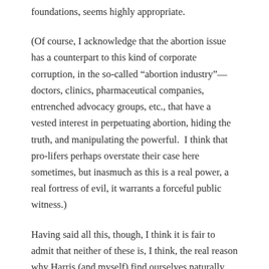foundations, seems highly appropriate.
(Of course, I acknowledge that the abortion issue has a counterpart to this kind of corporate corruption, in the so-called “abortion industry”—doctors, clinics, pharmaceutical companies, entrenched advocacy groups, etc., that have a vested interest in perpetuating abortion, hiding the truth, and manipulating the powerful.  I think that pro-lifers perhaps overstate their case here sometimes, but inasmuch as this is a real power, a real fortress of evil, it warrants a forceful public witness.)
Having said all this, though, I think it is fair to admit that neither of these is, I think, the real reason why Harris (and myself) find ourselves naturally more sympathetic with sign-waving against crony